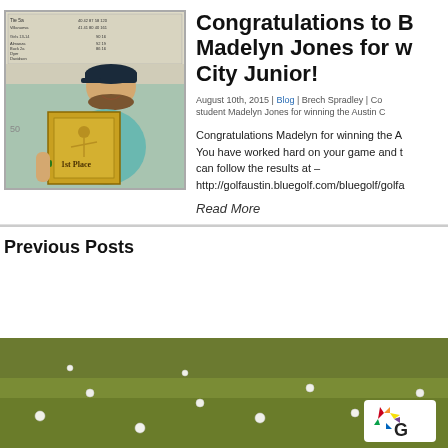[Figure (photo): Young girl holding a 1st Place golf trophy plaque, standing in front of a scoreboard]
Congratulations to Brech Madelyn Jones for winning the Austin City Junior!
August 10th, 2015 | Blog | Brech Spradley | Congratulations to student Madelyn Jones for winning the Austin City Junior!
Congratulations Madelyn for winning the Austin City Junior! You have worked hard on your game and this shows! You can follow the results at – http://golfaustin.bluegolf.com/bluegolf/golfa
Read More
Previous Posts
[Figure (photo): Golf course grass with scattered golf balls, NBC Golf logo in bottom right corner]